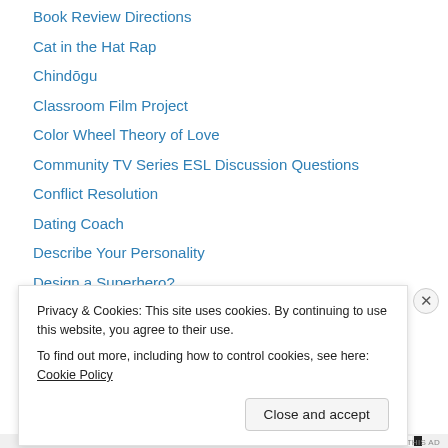Book Review Directions
Cat in the Hat Rap
Chindōgu
Classroom Film Project
Color Wheel Theory of Love
Community TV Series ESL Discussion Questions
Conflict Resolution
Dating Coach
Describe Your Personality
Design a Superhero?
Design an Alien
Difficult People
Discovery Channel: Building the Future
Disney Princes Description Activity
Privacy & Cookies: This site uses cookies. By continuing to use this website, you agree to their use. To find out more, including how to control cookies, see here: Cookie Policy